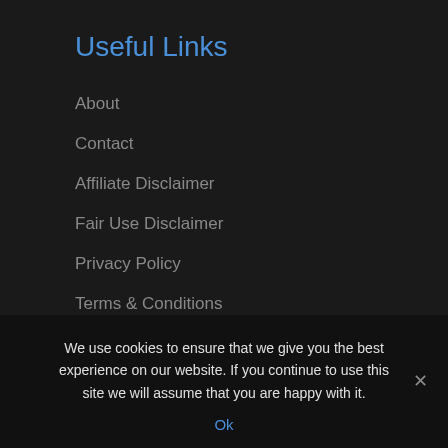Useful Links
About
Contact
Affiliate Disclaimer
Fair Use Disclaimer
Privacy Policy
Terms & Conditions
We use cookies to ensure that we give you the best experience on our website. If you continue to use this site we will assume that you are happy with it.
Ok